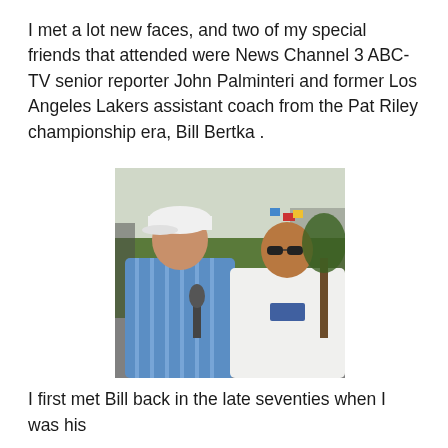I met a lot new faces, and two of my special friends that attended were News Channel 3 ABC-TV senior reporter John Palminteri and former Los Angeles Lakers assistant coach from the Pat Riley championship era, Bill Bertka .
[Figure (photo): Two men posing outdoors. The man on the left wears a white baseball cap and a blue striped shirt and holds a microphone. The man on the right wears sunglasses and a white t-shirt. Trees, a fence, and colorful flags are visible in the background.]
I first met Bill back in the late seventies when I was his